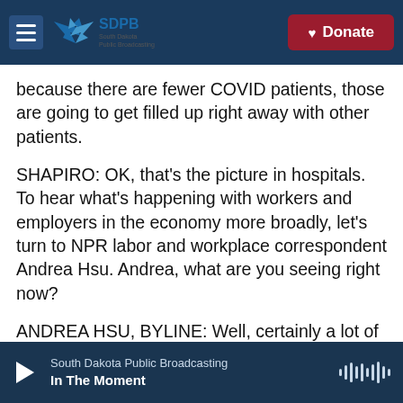SDPB South Dakota Public Broadcasting | Donate
because there are fewer COVID patients, those are going to get filled up right away with other patients.
SHAPIRO: OK, that's the picture in hospitals. To hear what's happening with workers and employers in the economy more broadly, let's turn to NPR labor and workplace correspondent Andrea Hsu. Andrea, what are you seeing right now?
ANDREA HSU, BYLINE: Well, certainly a lot of workers have been calling out sick. The Census Bureau estimated that earlier this month, it was close to 9 million people who were out because
South Dakota Public Broadcasting | In The Moment